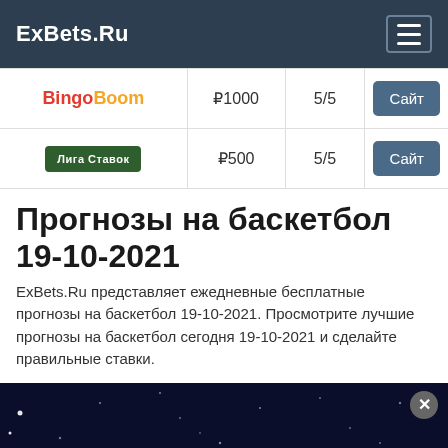ExBets.Ru
|  |  |  |  |
| --- | --- | --- | --- |
| BingoBoom | ₽1000 | 5/5 | Сайт |
| Лига Ставок | ₽500 | 5/5 | Сайт |
Прогнозы на баскетбол 19-10-2021
ExBets.Ru представляет ежедневные бесплатные прогнозы на баскетбол 19-10-2021. Просмотрите лучшие прогнозы на баскетбол сегодня 19-10-2021 и сделайте правильные ставки.
[Figure (photo): Dark space/night sky background with stars, advertisement banner with close button]